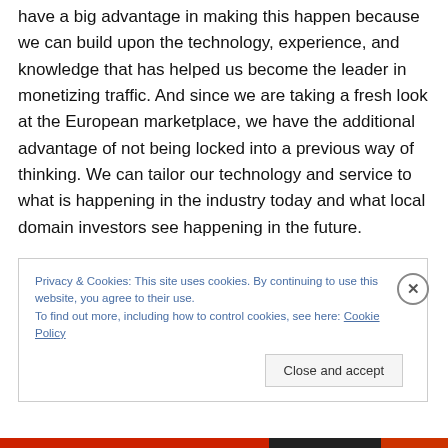have a big advantage in making this happen because we can build upon the technology, experience, and knowledge that has helped us become the leader in monetizing traffic. And since we are taking a fresh look at the European marketplace, we have the additional advantage of not being locked into a previous way of thinking. We can tailor our technology and service to what is happening in the industry today and what local domain investors see happening in the future.
Privacy & Cookies: This site uses cookies. By continuing to use this website, you agree to their use.
To find out more, including how to control cookies, see here: Cookie Policy
Close and accept